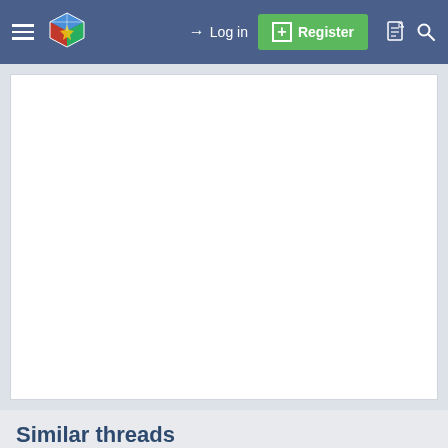Log in  Register
[Figure (screenshot): White empty content box area in the main body of a forum webpage]
Similar threads